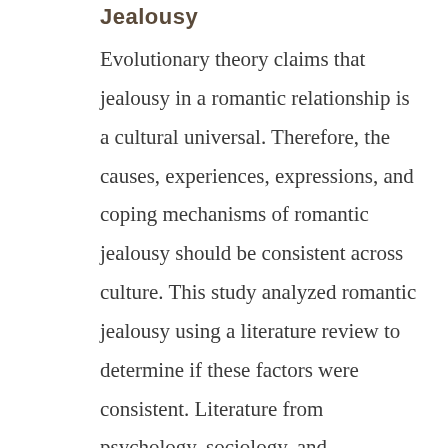Jealousy
Evolutionary theory claims that jealousy in a romantic relationship is a cultural universal. Therefore, the causes, experiences, expressions, and coping mechanisms of romantic jealousy should be consistent across culture. This study analyzed romantic jealousy using a literature review to determine if these factors were consistent. Literature from psychology, sociology, and communication were all considered. From this study, we can